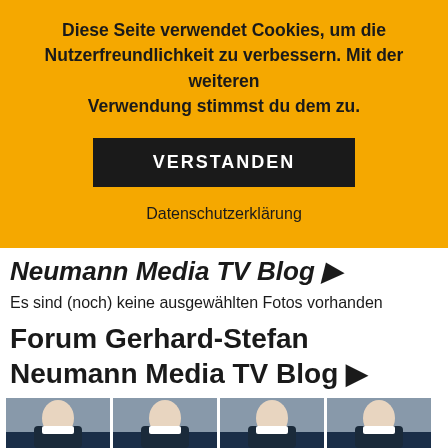Diese Seite verwendet Cookies, um die Nutzerfreundlichkeit zu verbessern. Mit der weiteren Verwendung stimmst du dem zu.
VERSTANDEN
Datenschutzerklärung
Neumann Media TV Blog ▶
Es sind (noch) keine ausgewählten Fotos vorhanden
Forum Gerhard-Stefan Neumann Media TV Blog ▶
[Figure (photo): Four thumbnail images of a blonde woman in a dark blazer, appearing to be video thumbnails from a TV blog.]